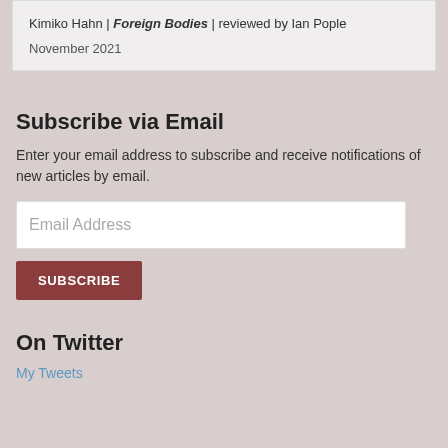Kimiko Hahn | Foreign Bodies | reviewed by Ian Pople
November 2021
Subscribe via Email
Enter your email address to subscribe and receive notifications of new articles by email.
Email Address
SUBSCRIBE
On Twitter
My Tweets